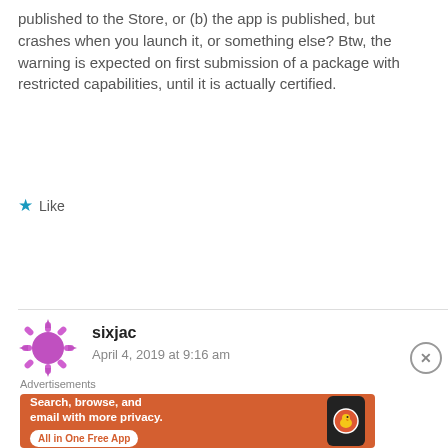published to the Store, or (b) the app is published, but crashes when you launch it, or something else? Btw, the warning is expected on first submission of a package with restricted capabilities, until it is actually certified.
Like
REPLY
sixjac
April 4, 2019 at 9:16 am
[Figure (infographic): DuckDuckGo advertisement banner: Search, browse, and email with more privacy. All in One Free App.]